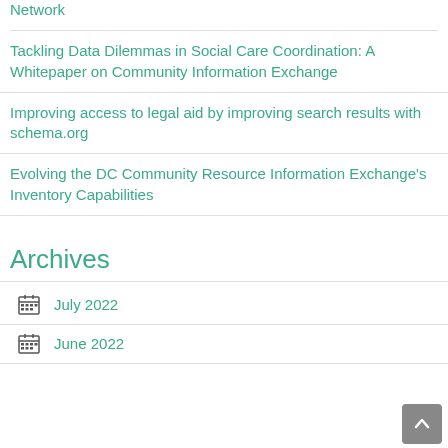Network
Tackling Data Dilemmas in Social Care Coordination: A Whitepaper on Community Information Exchange
Improving access to legal aid by improving search results with schema.org
Evolving the DC Community Resource Information Exchange's Inventory Capabilities
Archives
July 2022
June 2022